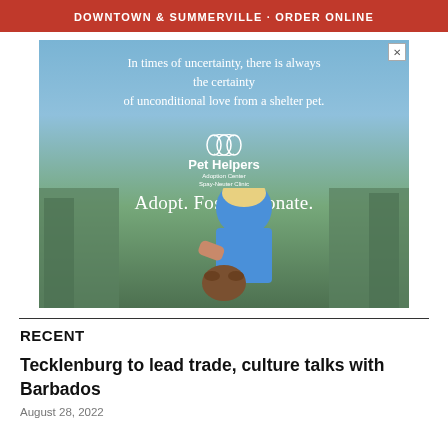DOWNTOWN & SUMMERVILLE · ORDER ONLINE
[Figure (illustration): Pet Helpers advertisement. Light blue/sky background with trees. Text reads: 'In times of uncertainty, there is always the certainty of unconditional love from a shelter pet.' Pet Helpers logo with dolphin icons. 'Adopt. Foster. Donate.' Photo of woman in blue shirt interacting with a dog outdoors.]
RECENT
Tecklenburg to lead trade, culture talks with Barbados
August 28, 2022